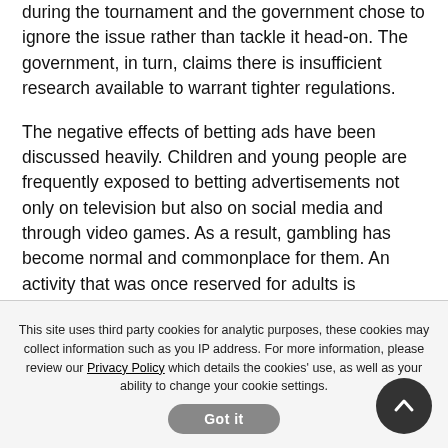during the tournament and the government chose to ignore the issue rather than tackle it head-on. The government, in turn, claims there is insufficient research available to warrant tighter regulations.
The negative effects of betting ads have been discussed heavily. Children and young people are frequently exposed to betting advertisements not only on television but also on social media and through video games. As a result, gambling has become normal and commonplace for them. An activity that was once reserved for adults is becoming increasingly popular among young people. This is a worrying trend as gambling is extremely addictive and detrimental, both
This site uses third party cookies for analytic purposes, these cookies may collect information such as you IP address. For more information, please review our Privacy Policy which details the cookies' use, as well as your ability to change your cookie settings.